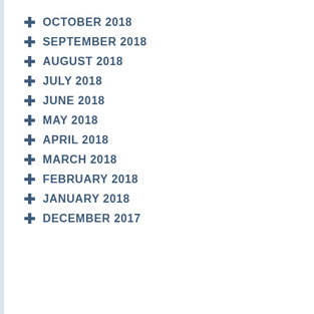+ OCTOBER 2018
+ SEPTEMBER 2018
+ AUGUST 2018
+ JULY 2018
+ JUNE 2018
+ MAY 2018
+ APRIL 2018
+ MARCH 2018
+ FEBRUARY 2018
+ JANUARY 2018
+ DECEMBER 2017